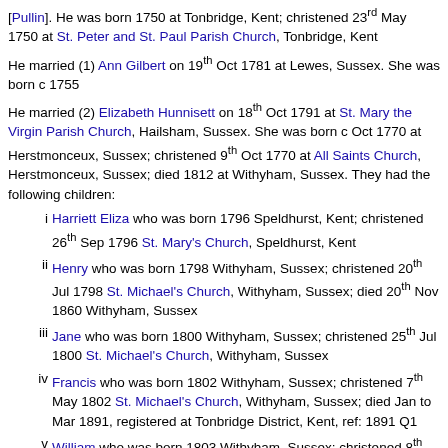[Pullin]. He was born 1750 at Tonbridge, Kent; christened 23rd May 1750 at St. Peter and St. Paul Parish Church, Tonbridge, Kent
He married (1) Ann Gilbert on 19th Oct 1781 at Lewes, Sussex. She was born c 1755
He married (2) Elizabeth Hunnisett on 18th Oct 1791 at St. Mary the Virgin Parish Church, Hailsham, Sussex. She was born c Oct 1770 at Herstmonceux, Sussex; christened 9th Oct 1770 at All Saints Church, Herstmonceux, Sussex; died 1812 at Withyham, Sussex. They had the following children:
i. Harriett Eliza who was born 1796 Speldhurst, Kent; christened 26th Sep 1796 St. Mary's Church, Speldhurst, Kent
ii. Henry who was born 1798 Withyham, Sussex; christened 20th Jul 1798 St. Michael's Church, Withyham, Sussex; died 20th Nov 1860 Withyham, Sussex
iii. Jane who was born 1800 Withyham, Sussex; christened 25th Jul 1800 St. Michael's Church, Withyham, Sussex
iv. Francis who was born 1802 Withyham, Sussex; christened 7th May 1802 St. Michael's Church, Withyham, Sussex; died Jan to Mar 1891, registered at Tonbridge District, Kent, ref: 1891 Q1
v. William who was born 1803 Withyham, Sussex; christened 8th Jul 1803 St. Michael's Church, Withyham, Sussex
vi. John who was born 1805 Withyham, Sussex; christened 7th Jun 1805 St. Michael's Church, Withyham, Sussex
vii. Elizabeth who was born 1807 Withyham, Sussex; christened 16th Jul 1807 St. Michael's Church, Withyham, Sussex